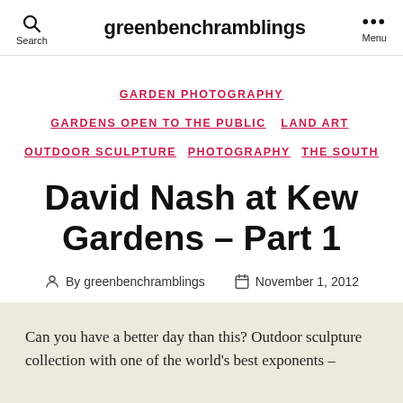greenbenchramblings
GARDEN PHOTOGRAPHY  GARDENS OPEN TO THE PUBLIC  LAND ART  OUTDOOR SCULPTURE  PHOTOGRAPHY  THE SOUTH
David Nash at Kew Gardens – Part 1
By greenbenchramblings  November 1, 2012
Can you have a better day than this? Outdoor sculpture collection with one of the world's best exponents –